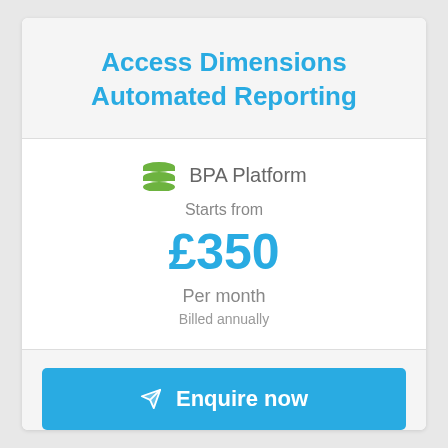Access Dimensions Automated Reporting
BPA Platform
Starts from
£350
Per month
Billed annually
Enquire now